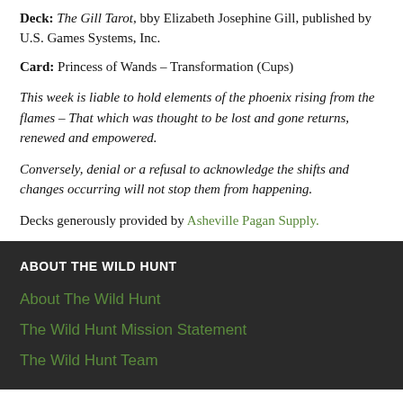Deck: The Gill Tarot, bby Elizabeth Josephine Gill, published by U.S. Games Systems, Inc.
Card: Princess of Wands – Transformation (Cups)
This week is liable to hold elements of the phoenix rising from the flames – That which was thought to be lost and gone returns, renewed and empowered.
Conversely, denial or a refusal to acknowledge the shifts and changes occurring will not stop them from happening.
Decks generously provided by Asheville Pagan Supply.
ABOUT THE WILD HUNT
About The Wild Hunt
The Wild Hunt Mission Statement
The Wild Hunt Team